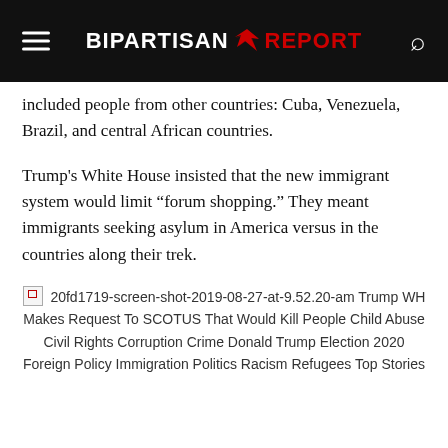BIPARTISAN REPORT
included people from other countries: Cuba, Venezuela, Brazil, and central African countries.
Trump's White House insisted that the new immigrant system would limit “forum shopping.” They meant immigrants seeking asylum in America versus in the countries along their trek.
[Figure (screenshot): Broken image placeholder followed by article tags: 20fd1719-screen-shot-2019-08-27-at-9.52.20-am Trump WH Makes Request To SCOTUS That Would Kill People Child Abuse Civil Rights Corruption Crime Donald Trump Election 2020 Foreign Policy Immigration Politics Racism Refugees Top Stories]